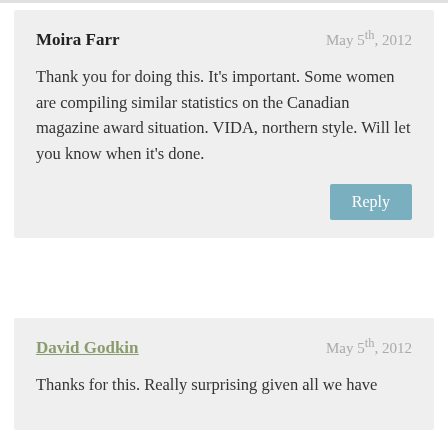Moira Farr — May 5th, 2012
Thank you for doing this. It's important. Some women are compiling similar statistics on the Canadian magazine award situation. VIDA, northern style. Will let you know when it's done.
Reply
David Godkin — May 5th, 2012
Thanks for this. Really surprising given all we have